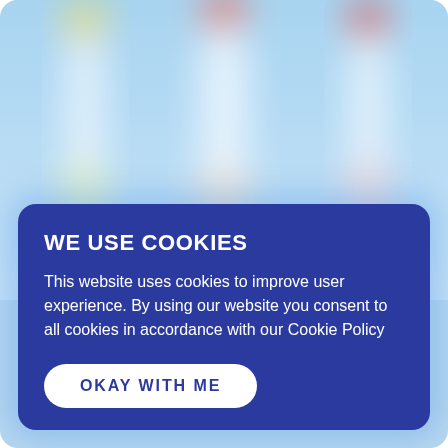[Figure (photo): Blurred background image showing three bottles with colored caps (yellow, red/pink, red) against a light blue background. The bottles are white and blurry/out of focus.]
WE USE COOKIES
This website uses cookies to improve user experience. By using our website you consent to all cookies in accordance with our Cookie Policy
OKAY WITH ME